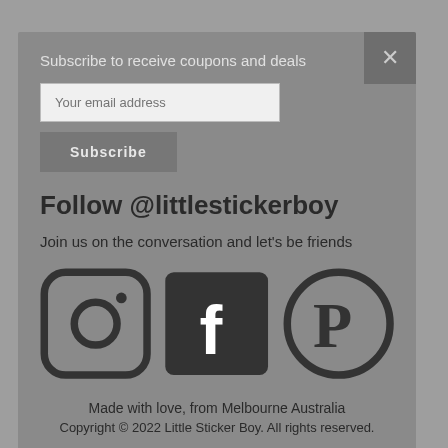Newsletter
Sign up here to get the latest news, updates and
directly to your inbox.
Your email address
SUBSCRIBE
Don't show the popup again
Subscribe to receive coupons and deals
Your email address
Subscribe
Follow @littlestickerboy
Join us on the conversation and let's be friends
[Figure (other): Social media icons: Instagram, Facebook, Pinterest]
Made with love, from Melbourne Australia
Copyright © 2022 Little Sticker Boy. All rights reserved.